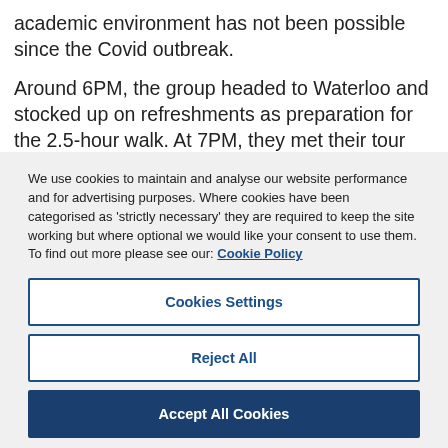academic environment has not been possible since the Covid outbreak.
Around 6PM, the group headed to Waterloo and stocked up on refreshments as preparation for the 2.5-hour walk. At 7PM, they met their tour guide Vincent and started the
We use cookies to maintain and analyse our website performance and for advertising purposes. Where cookies have been categorised as ‘strictly necessary’ they are required to keep the site working but where optional we would like your consent to use them. To find out more please see our: Cookie Policy
Cookies Settings
Reject All
Accept All Cookies